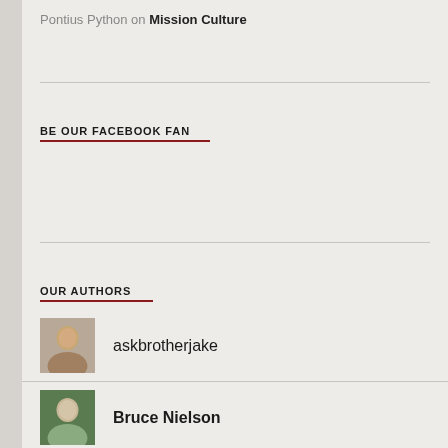Pontius Python on Mission Culture
BE OUR FACEBOOK FAN
OUR AUTHORS
askbrotherjake
Bruce Nielson
Bryce Cook